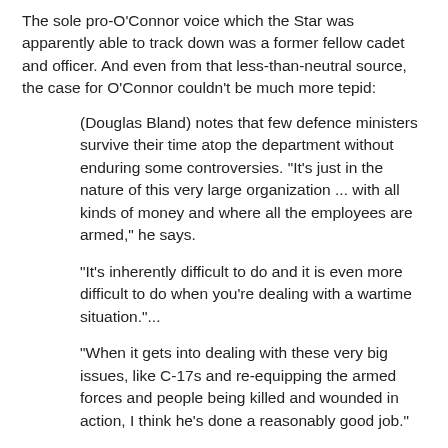The sole pro-O'Connor voice which the Star was apparently able to track down was a former fellow cadet and officer. And even from that less-than-neutral source, the case for O'Connor couldn't be much more tepid:
(Douglas Bland) notes that few defence ministers survive their time atop the department without enduring some controversies. "It's just in the nature of this very large organization ... with all kinds of money and where all the employees are armed," he says.
"It's inherently difficult to do and it is even more difficult to do when you're dealing with a wartime situation."...
"When it gets into dealing with these very big issues, like C-17s and re-equipping the armed forces and people being killed and wounded in action, I think he's done a reasonably good job."